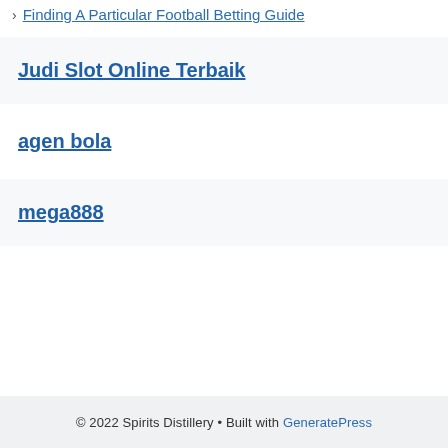> Finding A Particular Football Betting Guide
Judi Slot Online Terbaik
agen bola
mega888
© 2022 Spirits Distillery • Built with GeneratePress